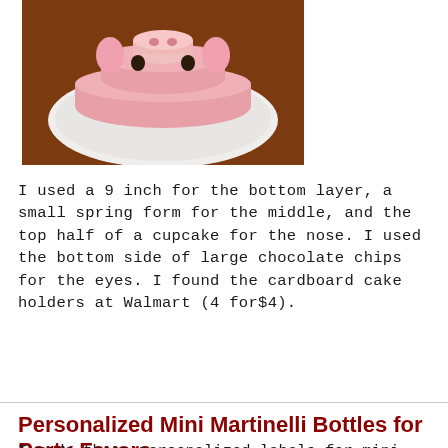[Figure (photo): A tiered pink cake shaped like a pig face, sitting on a white plate, placed on a brown wooden surface. The cake shows a round snout structure on top.]
I used a 9 inch for the bottom layer, a small spring form for the middle, and the top half of a cupcake for the nose. I used the bottom side of large chocolate chips for the eyes. I found the cardboard cake holders at Walmart (4 for$4).
Share
Personalized Mini Martinelli Bottles for Party Favors
I made these personalized labels for mini Martinelli's